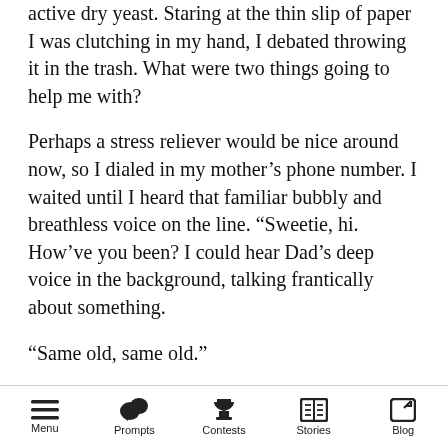active dry yeast. Staring at the thin slip of paper I was clutching in my hand, I debated throwing it in the trash. What were two things going to help me with?
Perhaps a stress reliever would be nice around now, so I dialed in my mother's phone number. I waited until I heard that familiar bubbly and breathless voice on the line. “Sweetie, hi. How’ve you been? I could hear Dad’s deep voice in the background, talking frantically about something.
“Same old, same old.”
“Don’t miss your mom anymore?” she joked. I laughed but it melted into a sigh when I stared at
Menu  Prompts  Contests  Stories  Blog